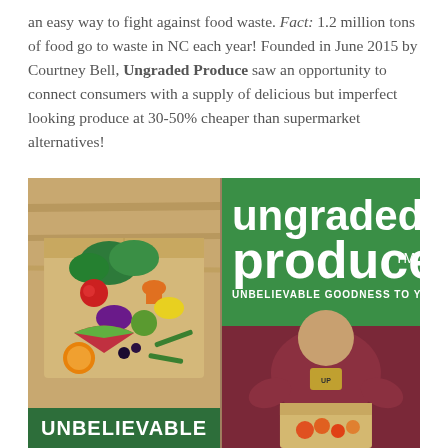an easy way to fight against food waste. Fact: 1.2 million tons of food go to waste in NC each year! Founded in June 2015 by Courtney Bell, Ungraded Produce saw an opportunity to connect consumers with a supply of delicious but imperfect looking produce at 30-50% cheaper than supermarket alternatives!
[Figure (photo): Two promotional display boards for Ungraded Produce. Left board shows a cardboard box filled with colorful mixed vegetables and fruits with text 'UNBELIEVABLE' at the bottom. Right board features a large green sign reading 'ungraded produce TM - UNBELIEVABLE GOODNESS TO YOUR DOOR' with a person in a maroon shirt packing produce into a box below.]